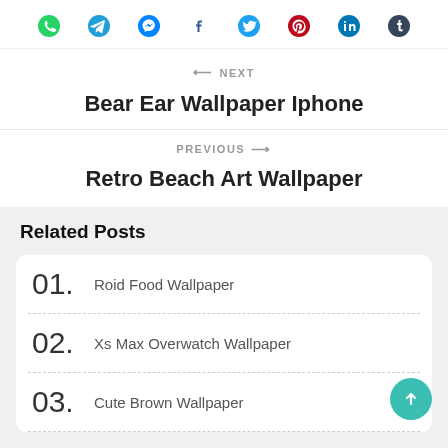[Figure (other): Social sharing icon bar with WhatsApp (green), Telegram (blue), Messenger (blue), Facebook (dark blue), Twitter (blue), Pinterest (red), LinkedIn (blue), Tumblr (blue) icons]
← NEXT
Bear Ear Wallpaper Iphone
PREVIOUS →
Retro Beach Art Wallpaper
Related Posts
01.  Roid Food Wallpaper
02.  Xs Max Overwatch Wallpaper
03.  Cute Brown Wallpaper